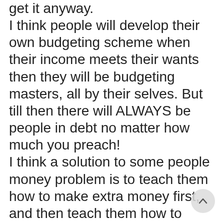get it anyway. I think people will develop their own budgeting scheme when their income meets their wants then they will be budgeting masters, all by their selves. But till then there will ALWAYS be people in debt no matter how much you preach! I think a solution to some people money problem is to teach them how to make extra money first, and then teach them how to budget and save it. Americans really don't want that much; it is the hobbies that get people in trouble, bills, spending too much on golf clubs, car parts, computers, things around the house etc. I don't know about you but this is how I feel about life. Right now, I am working a 9 to 5 job